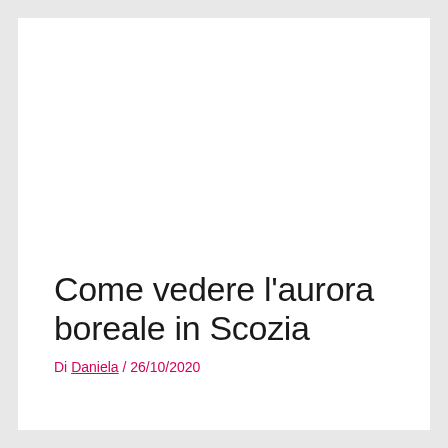Come vedere l’aurora boreale in Scozia
Di Daniela / 26/10/2020